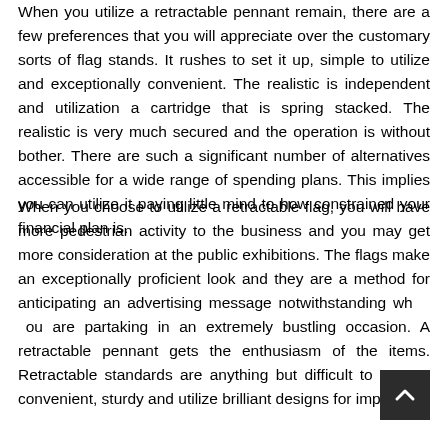When you utilize a retractable pennant remain, there are a few preferences that you will appreciate over the customary sorts of flag stands. It rushes to set it up, simple to utilize and exceptionally convenient. The realistic is independent and utilization a cartridge that is spring stacked. The realistic is very much secured and the operation is without bother. There are such a significant number of alternatives accessible for a wide range of spending plans. This implies you can utilize it paying little mind to how constrained your financial plan is.
When you choose to utilize a retractable flag, you will have more pedestrian activity to the business and you may get more consideration at the public exhibitions. The flags make an exceptionally proficient look and they are a method for anticipating an advertising message notwithstanding when you are partaking in an extremely bustling occasion. A retractable pennant gets the enthusiasm of the items. Retractable standards are anything but difficult to amass, convenient, sturdy and utilize brilliant designs for impacts.